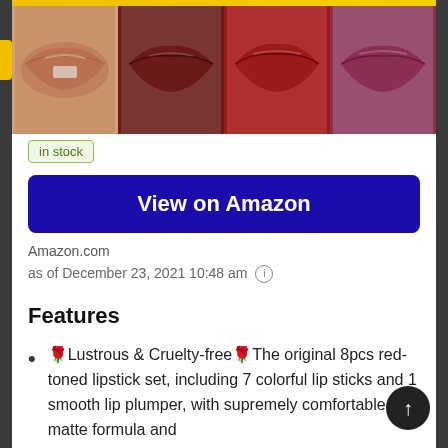[Figure (photo): Four close-up images of lips wearing different lipstick shades: nude/beige, dark burgundy, bright red, and mauve/pink]
in stock
View on Amazon
Amazon.com
as of December 23, 2021 10:48 am (i)
Features
🌹Lustrous & Cruelty-free🌹The original 8pcs red-toned lipstick set, including 7 colorful lip sticks and 1 smooth lip plumper, with supremely comfortable matte formula and